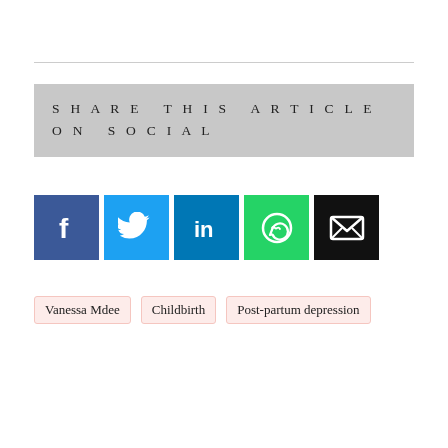SHARE THIS ARTICLE ON SOCIAL
[Figure (infographic): Row of social media share icons: Facebook (dark blue), Twitter (light blue), LinkedIn (teal/dark blue), WhatsApp (green), Email (black)]
Vanessa Mdee
Childbirth
Post-partum depression